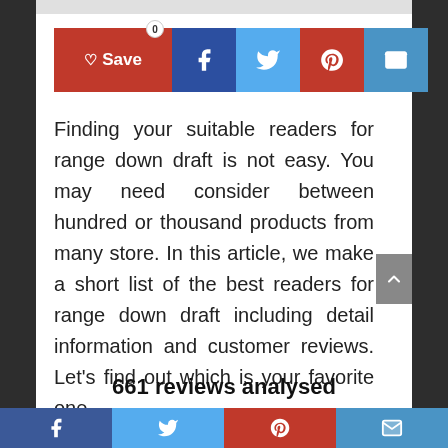[Figure (screenshot): Social share buttons row: Save (heart icon, red), Facebook (dark blue), Twitter (light blue), Pinterest (red), Email (blue)]
Finding your suitable readers for range down draft is not easy. You may need consider between hundred or thousand products from many store. In this article, we make a short list of the best readers for range down draft including detail information and customer reviews. Let's find out which is your favorite one.
661 reviews analysed
[Figure (screenshot): Bottom social sharing bar with Facebook, Twitter, Pinterest, and Email icons]